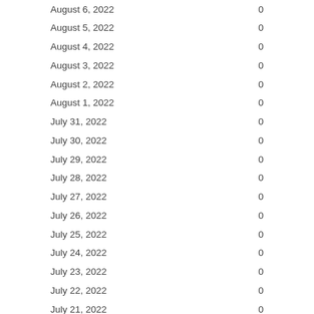| Date | Value |
| --- | --- |
| August 6, 2022 | 0 |
| August 5, 2022 | 0 |
| August 4, 2022 | 0 |
| August 3, 2022 | 0 |
| August 2, 2022 | 0 |
| August 1, 2022 | 0 |
| July 31, 2022 | 0 |
| July 30, 2022 | 0 |
| July 29, 2022 | 0 |
| July 28, 2022 | 0 |
| July 27, 2022 | 0 |
| July 26, 2022 | 0 |
| July 25, 2022 | 0 |
| July 24, 2022 | 0 |
| July 23, 2022 | 0 |
| July 22, 2022 | 0 |
| July 21, 2022 | 0 |
| July 20, 2022 | 0 |
| July 19, 2022 | 0 |
| July 18, 2022 | 0 |
| July 17, 2022 | 0 |
| July 16, 2022 | 0 |
| July 15, 2022 | 0 |